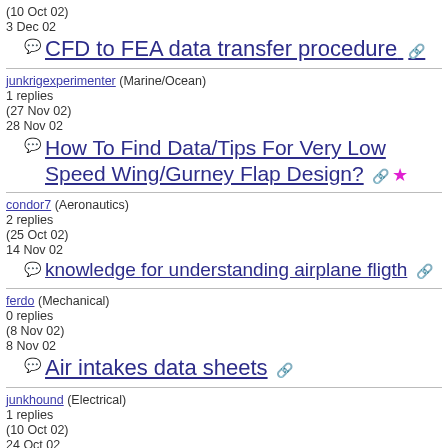(10 Oct 02)
3 Dec 02
CFD to FEA data transfer procedure
junkrigexperimenter (Marine/Ocean)
1 replies
(27 Nov 02)
28 Nov 02
How To Find Data/Tips For Very Low Speed Wing/Gurney Flap Design?
condor7 (Aeronautics)
2 replies
(25 Oct 02)
14 Nov 02
knowledge for understanding airplane fligth
ferdo (Mechanical)
0 replies
(8 Nov 02)
8 Nov 02
Air intakes data sheets
junkhound (Electrical)
1 replies
(10 Oct 02)
24 Oct 02
high altitudo lightning/red sprites